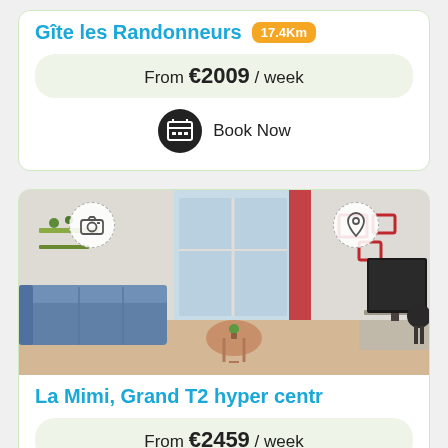Gîte les Randonneurs 17.4Km
From €2009 / week
Book Now
[Figure (photo): Interior photo of apartment living room with blue sofa, round coffee table, red curtain, and TV]
La Mimi, Grand T2 hyper centr
From €2459 / week